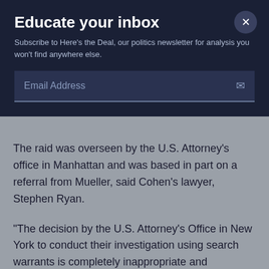Educate your inbox
Subscribe to Here's the Deal, our politics newsletter for analysis you won't find anywhere else.
Email Address
The raid was overseen by the U.S. Attorney's office in Manhattan and was based in part on a referral from Mueller, said Cohen's lawyer, Stephen Ryan.
“The decision by the U.S. Attorney’s Office in New York to conduct their investigation using search warrants is completely inappropriate and unnecessary,” Ryan said in a statement. “It resulted in the unnecessary seizure of